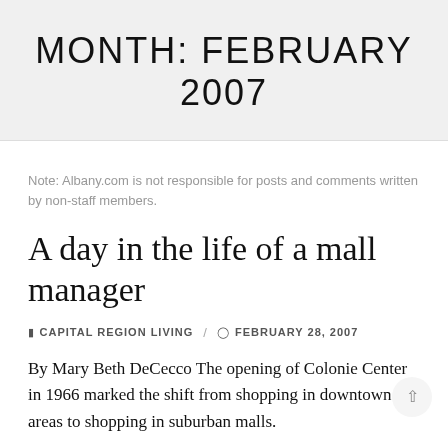MONTH: FEBRUARY 2007
Note: Albany.com is not responsible for posts and comments written by non-staff members.
A day in the life of a mall manager
CAPITAL REGION LIVING / FEBRUARY 28, 2007
By Mary Beth DeCecco The opening of Colonie Center in 1966 marked the shift from shopping in downtown areas to shopping in suburban malls.